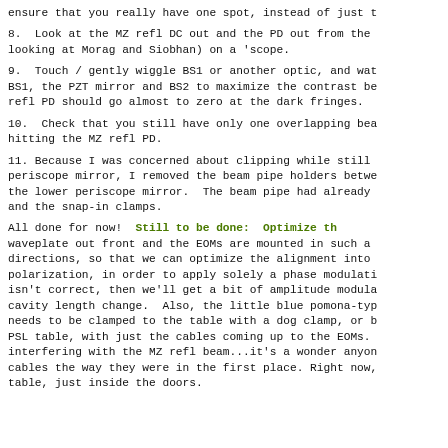ensure that you really have one spot, instead of just t
8.  Look at the MZ refl DC out and the PD out from the looking at Morag and Siobhan) on a 'scope.
9.  Touch / gently wiggle BS1 or another optic, and wat BS1, the PZT mirror and BS2 to maximize the contrast be refl PD should go almost to zero at the dark fringes.
10.  Check that you still have only one overlapping bea hitting the MZ refl PD.
11. Because I was concerned about clipping while still periscope mirror, I removed the beam pipe holders betwe the lower periscope mirror.  The beam pipe had already and the snap-in clamps.
All done for now!  Still to be done:  Optimize th waveplate out front and the EOMs are mounted in such a directions, so that we can optimize the alignment into polarization, in order to apply solely a phase modulati isn't correct, then we'll get a bit of amplitude modula cavity length change.  Also, the little blue pomona-typ needs to be clamped to the table with a dog clamp, or b PSL table, with just the cables coming up to the EOMs. interfering with the MZ refl beam...it's a wonder anyon cables the way they were in the first place. Right now, table, just inside the doors.